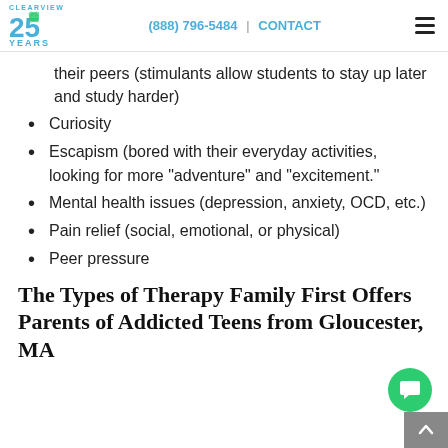CLEARVIEW 25 YEARS | (888) 796-5484 | CONTACT
their peers (stimulants allow students to stay up later and study harder)
Curiosity
Escapism (bored with their everyday activities, looking for more "adventure" and "excitement."
Mental health issues (depression, anxiety, OCD, etc.)
Pain relief (social, emotional, or physical)
Peer pressure
The Types of Therapy Family First Offers Parents of Addicted Teens from Gloucester, MA